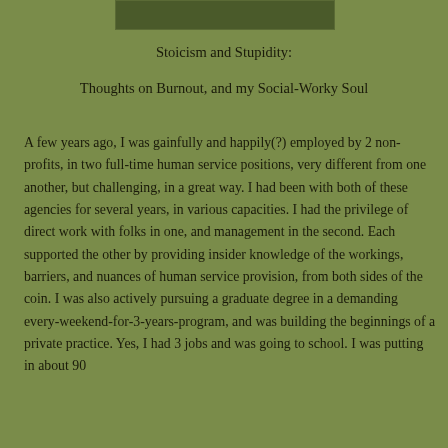[Figure (photo): Partial photo of an outdoor scene visible at the top of the page, cropped.]
Stoicism and Stupidity:
Thoughts on Burnout, and my Social-Worky Soul
A few years ago, I was gainfully and happily(?) employed by 2 non-profits, in two full-time human service positions, very different from one another, but challenging, in a great way. I had been with both of these agencies for several years, in various capacities. I had the privilege of direct work with folks in one, and management in the second. Each supported the other by providing insider knowledge of the workings, barriers, and nuances of human service provision, from both sides of the coin. I was also actively pursuing a graduate degree in a demanding every-weekend-for-3-years-program, and was building the beginnings of a private practice. Yes, I had 3 jobs and was going to school. I was putting in about 90